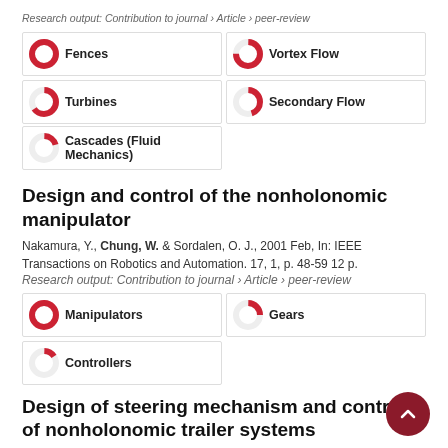Research output: Contribution to journal › Article › peer-review
[Figure (infographic): Badge grid showing topic relevance scores: Fences (100%), Vortex Flow (75%), Turbines (65%), Secondary Flow (45%), Cascades (Fluid Mechanics) (20%)]
Design and control of the nonholonomic manipulator
Nakamura, Y., Chung, W. & Sordalen, O. J., 2001 Feb, In: IEEE Transactions on Robotics and Automation. 17, 1, p. 48-59 12 p.
Research output: Contribution to journal › Article › peer-review
[Figure (infographic): Badge grid showing topic relevance scores: Manipulators (100%), Gears (25%), Controllers (15%)]
Design of steering mechanism and control of nonholonomic trailer systems